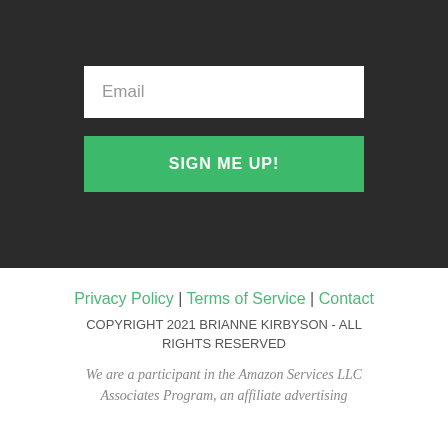[Figure (screenshot): Email input field with placeholder text 'Email' on dark background]
SIGN ME UP!
Privacy Policy | Terms of Service | Contact
COPYRIGHT 2021 BRIANNE KIRBYSON - ALL RIGHTS RESERVED
We are a participant in the Amazon Services LLC Associates Program, an affiliate advertising